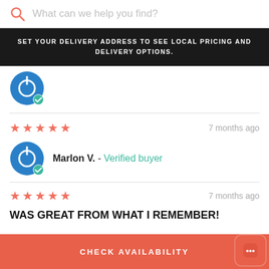What can we help you find?
SET YOUR DELIVERY ADDRESS TO SEE LOCAL PRICING AND DELIVERY OPTIONS.
[Figure (logo): Partial blue circular power button avatar icon with green verified checkmark badge]
★★★★★  7 months ago
[Figure (logo): Blue circular power button avatar icon with green verified checkmark badge]
Marlon V. - Verified buyer
★★★★★  7 months ago
WAS GREAT FROM WHAT I REMEMBER!
CHECK AVAILABILITY